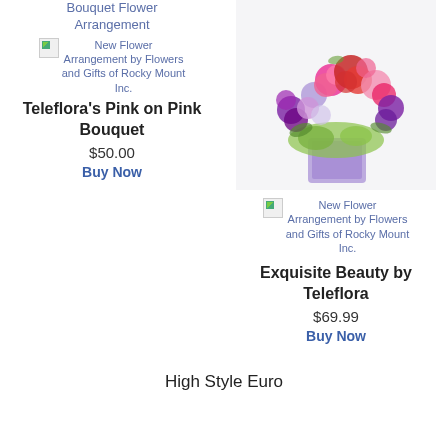Bouquet Flower Arrangement
[Figure (photo): Broken image placeholder for New Flower Arrangement by Flowers and Gifts of Rocky Mount Inc.]
New Flower Arrangement by Flowers and Gifts of Rocky Mount Inc.
Teleflora's Pink on Pink Bouquet
$50.00
Buy Now
[Figure (photo): Photo of a colorful flower arrangement with pink and red roses, purple flowers in a purple/lavender square glass vase]
[Figure (photo): Broken image placeholder for New Flower Arrangement by Flowers and Gifts of Rocky Mount Inc.]
New Flower Arrangement by Flowers and Gifts of Rocky Mount Inc.
Exquisite Beauty by Teleflora
$69.99
Buy Now
High Style Euro